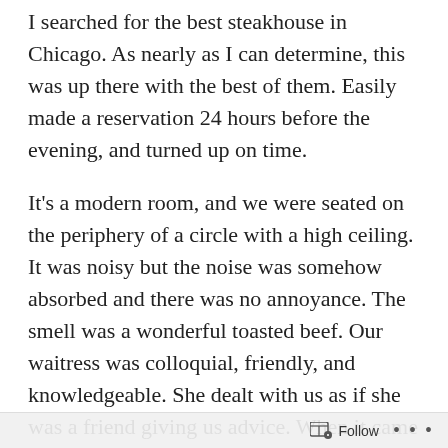I searched for the best steakhouse in Chicago. As nearly as I can determine, this was up there with the best of them. Easily made a reservation 24 hours before the evening, and turned up on time.
It's a modern room, and we were seated on the periphery of a circle with a high ceiling. It was noisy but the noise was somehow absorbed and there was no annoyance. The smell was a wonderful toasted beef. Our waitress was colloquial, friendly, and knowledgeable. She dealt with us as if she was a friend giving us advice. When it came to the menu, I was surprised there was no roast beef, and notice that (in the style of steakhouses) you had to pay extra for potatoes, vegetables, and so on.
Robin had a small tenderloin called a starter on the menu,
Follow